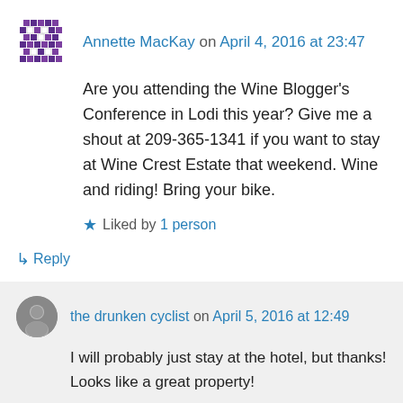Annette MacKay on April 4, 2016 at 23:47
Are you attending the Wine Blogger’s Conference in Lodi this year? Give me a shout at 209-365-1341 if you want to stay at Wine Crest Estate that weekend. Wine and riding! Bring your bike.
★ Liked by 1 person
↳ Reply
the drunken cyclist on April 5, 2016 at 12:49
I will probably just stay at the hotel, but thanks! Looks like a great property!
★ Like